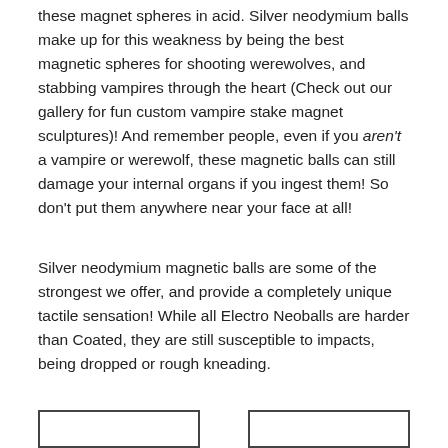these magnet spheres in acid. Silver neodymium balls make up for this weakness by being the best magnetic spheres for shooting werewolves, and stabbing vampires through the heart (Check out our gallery for fun custom vampire stake magnet sculptures)! And remember people, even if you aren't a vampire or werewolf, these magnetic balls can still damage your internal organs if you ingest them! So don't put them anywhere near your face at all!
Silver neodymium magnetic balls are some of the strongest we offer, and provide a completely unique tactile sensation! While all Electro Neoballs are harder than Coated, they are still susceptible to impacts, being dropped or rough kneading.
[Figure (other): Two partially visible rectangular boxes/frames at the bottom of the page]